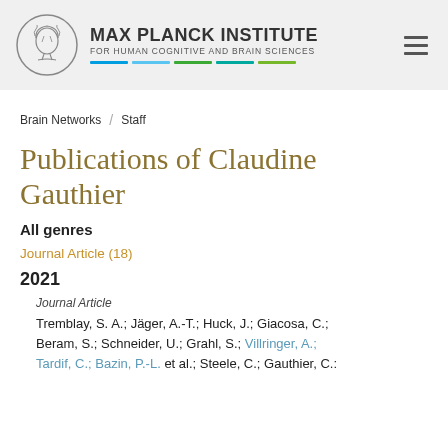MAX PLANCK INSTITUTE FOR HUMAN COGNITIVE AND BRAIN SCIENCES
Brain Networks / Staff
Publications of Claudine Gauthier
All genres
Journal Article (18)
2021
Journal Article
Tremblay, S. A.; Jäger, A.-T.; Huck, J.; Giacosa, C.; Beram, S.; Schneider, U.; Grahl, S.; Villringer, A.; Tardif, C.; Bazin, P.-L. et al.; Steele, C.; Gauthier, C.: